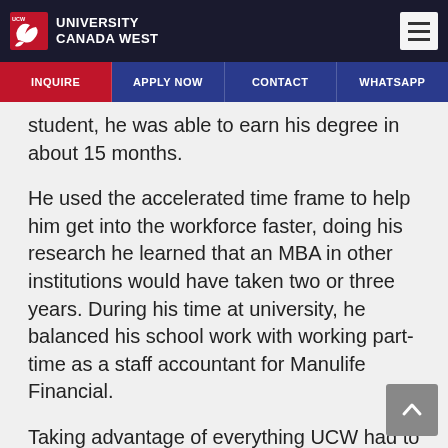[Figure (logo): University Canada West logo with red bird icon and white text on dark background, with hamburger menu icon on right]
INQUIRE | APPLY NOW | CONTACT | WHATSAPP
student, he was able to earn his degree in about 15 months.
He used the accelerated time frame to help him get into the workforce faster, doing his research he learned that an MBA in other institutions would have taken two or three years. During his time at university, he balanced his school work with working part-time as a staff accountant for Manulife Financial.
Taking advantage of everything UCW had to offer, Theo attended different workshops and